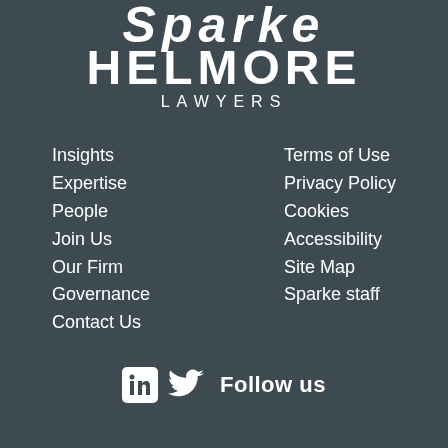[Figure (logo): Sparke Helmore Lawyers logo, white text on dark background, showing partially cropped 'Sparke' at top, 'HELMORE' in large bold letters, and 'LAWYERS' in smaller spaced caps below]
Insights
Expertise
People
Join Us
Our Firm
Governance
Contact Us
Terms of Use
Privacy Policy
Cookies
Accessibility
Site Map
Sparke staff
Follow us